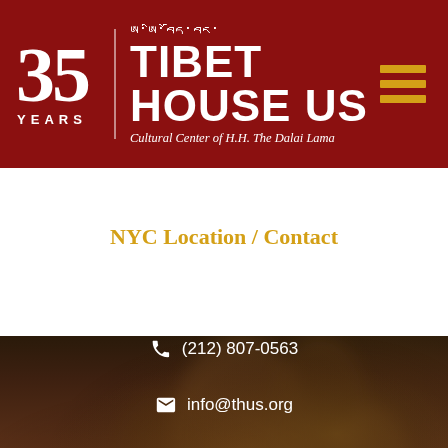35 YEARS | TIBET HOUSE | Cultural Center of H.H. The Dalai Lama
[Figure (photo): Blurred dark background photo of a Tibetan bronze statue/sculpture]
NYC Location / Contact
22 W 15th St, New York, NY 10011
(212) 807-0563
info@thus.org